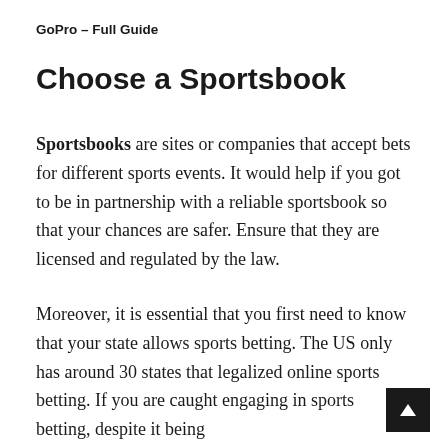GoPro – Full Guide
Choose a Sportsbook
Sportsbooks are sites or companies that accept bets for different sports events. It would help if you got to be in partnership with a reliable sportsbook so that your chances are safer. Ensure that they are licensed and regulated by the law.
Moreover, it is essential that you first need to know that your state allows sports betting. The US only has around 30 states that legalized online sports betting. If you are caught engaging in sports betting, despite it being